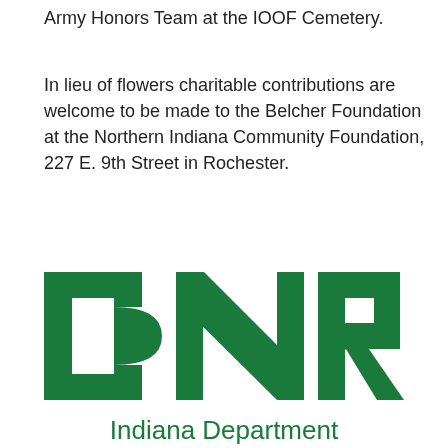Army Honors Team at the IOOF Cemetery.
In lieu of flowers charitable contributions are welcome to be made to the Belcher Foundation at the Northern Indiana Community Foundation, 227 E. 9th Street in Rochester.
[Figure (logo): Indiana Department of Natural Resources (DNR) logo — large bold green 'DNR' letters above the text 'Indiana Department of Natural Resources' in green.]